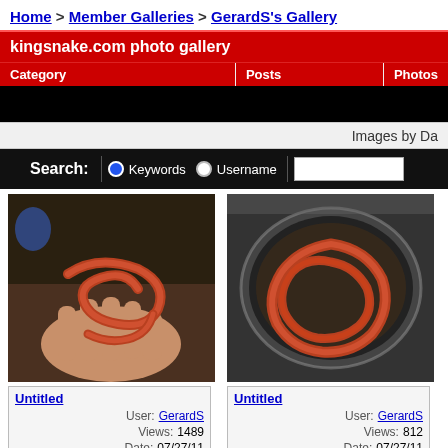Home > Member Galleries > GerardS's Gallery
kingsnake.com photo gallery
| Category | Posts | Photos |
| --- | --- | --- |
Images by Da
[Figure (screenshot): Search bar with Keywords and Username radio buttons and text input on black background]
[Figure (photo): Photo of corn snake held in a human hand on tile floor]
[Figure (photo): Photo of corn snake coiled in a glass container]
Untitled
User: GerardS
Views: 1489
Date: 07/27/11
Untitled
User: GerardS
Views: 812
Date: 07/27/11